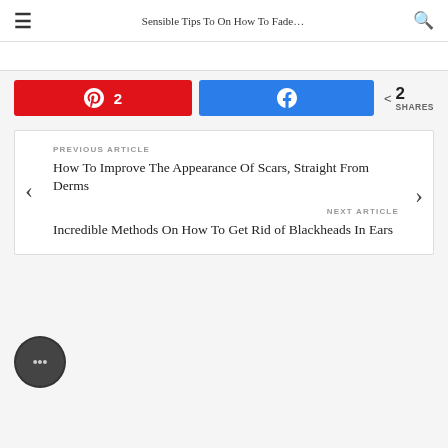Sensible Tips To On How To Fade…
2 SHARES
PREVIOUS ARTICLE
How To Improve The Appearance Of Scars, Straight From Derms
NEXT ARTICLE
Incredible Methods On How To Get Rid of Blackheads In Ears
[Figure (other): Author avatar circle with ellipsis icon]